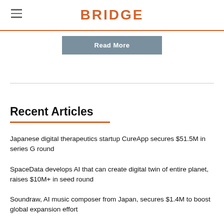BRIDGE
Read More
Recent Articles
Japanese digital therapeutics startup CureApp secures $51.5M in series G round
SpaceData develops AI that can create digital twin of entire planet, raises $10M+ in seed round
Soundraw, AI music composer from Japan, secures $1.4M to boost global expansion effort